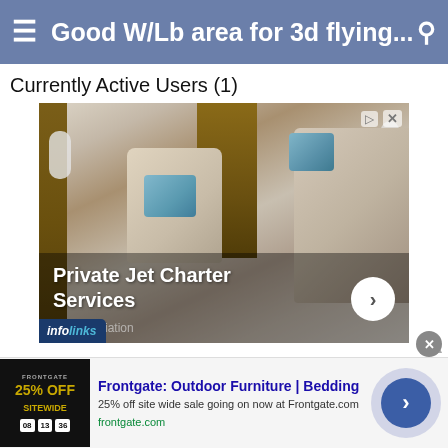Good W/Lb area for 3d flying...
Currently Active Users (1)
[Figure (photo): Advertisement showing the interior of a private jet with cream leather seats, blue pillows, and wood paneling. Overlay text reads 'Private Jet Charter Services' with a right-arrow button and 'Trilogy Aviation' subtitle. Infolinks badge in bottom-left corner.]
[Figure (photo): Bottom banner advertisement for Frontgate: Outdoor Furniture and Bedding. Shows a black promotional image with '25% OFF SITEWIDE' text. Ad text: 'Frontgate: Outdoor Furniture | Bedding', '25% off site wide sale going on now at Frontgate.com', 'frontgate.com']